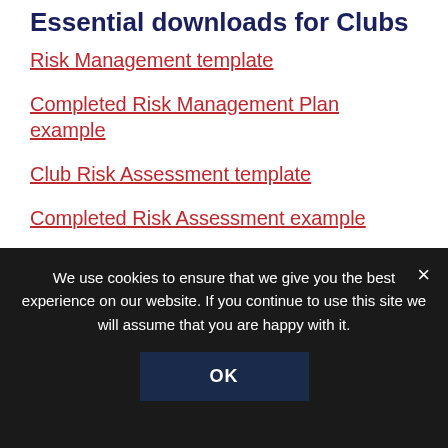Essential downloads for Clubs
Risk Management template
Completed Risk Management Plan example
Club Risk Assessment template
Completed Risk Assessment example
Guidance for rowers and canoeists on shared water
Essential downloads for Events
We use cookies to ensure that we give you the best experience on our website. If you continue to use this site we will assume that you are happy with it.
OK